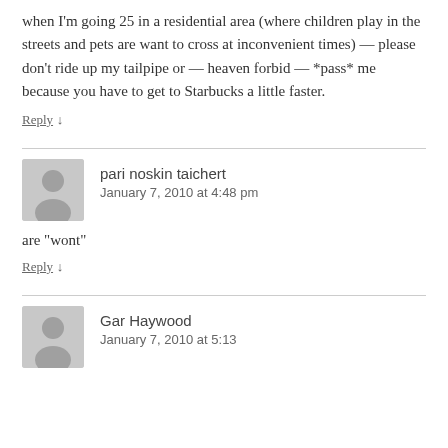when I'm going 25 in a residential area (where children play in the streets and pets are want to cross at inconvenient times) — please don't ride up my tailpipe or — heaven forbid — *pass* me because you have to get to Starbucks a little faster.
Reply ↓
pari noskin taichert
January 7, 2010 at 4:48 pm
are "wont"
Reply ↓
Gar Haywood
January 7, 2010 at 5:13